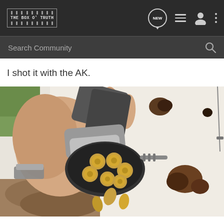THE BOX O' TRUTH — navigation bar with logo, NEW, list, user, and menu icons
Search Community
I shot it with the AK.
[Figure (photo): Close-up photo of a hand holding an open revolver cylinder with visible brass cartridges/bullets, next to a white surface with bullet impact marks and scorching. The person is wearing a watch. Dirt and debris visible in the foreground.]